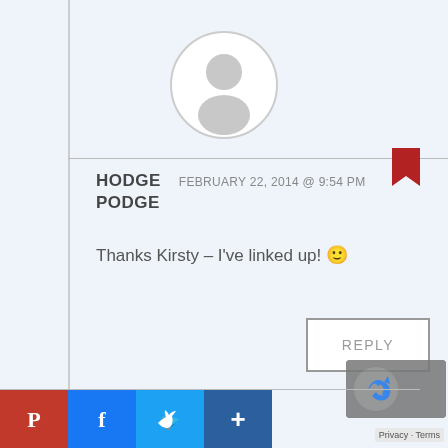[Figure (illustration): Default gray avatar icon in a circle, showing a generic person silhouette with head and shoulders]
HODGE PODGE   FEBRUARY 22, 2014 @ 9:54 PM
Thanks Kirsty – I've linked up! 🙂
REPLY
[Figure (logo): reCAPTCHA badge with blue arrow logo]
Privacy · Terms
[Figure (illustration): Social sharing buttons: Pinterest (red), Facebook (blue), Twitter (light blue), Add (dark blue)]